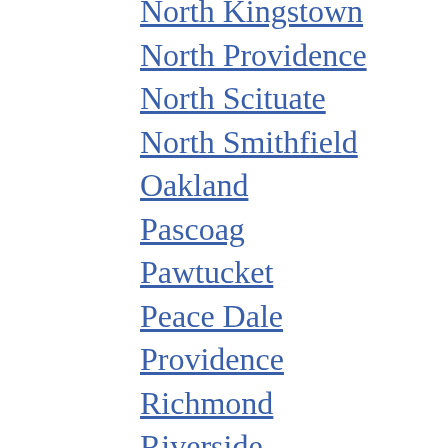North Kingstown
North Providence
North Scituate
North Smithfield
Oakland
Pascoag
Pawtucket
Peace Dale
Providence
Richmond
Riverside
Rumford
Saunderstown
Scituate
Shannock
Slatersville
Slocum
Smithfield
South Kingstown
Wakefield
Warwick
West Greenwich
West Kingston
West Warwick
Westerly